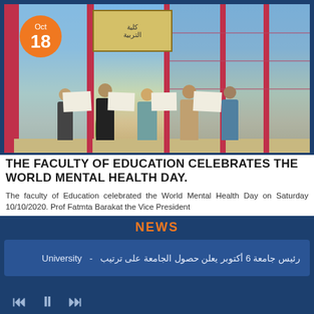[Figure (photo): Group of five students wearing masks standing in front of the Faculty of Education building with pink/red door frames, holding papers/certificates. An orange date badge showing Oct 18 is overlaid in the top-left corner.]
THE FACULTY OF EDUCATION CELEBRATES THE WORLD MENTAL HEALTH DAY.
The faculty of Education celebrated the World Mental Health Day on Saturday 10/10/2020. Prof Fatmta Barakat the Vice President
NEWS
رئيس جامعة 6 أكتوبر يعلن حصول الجامعة على ترتيب  -  University